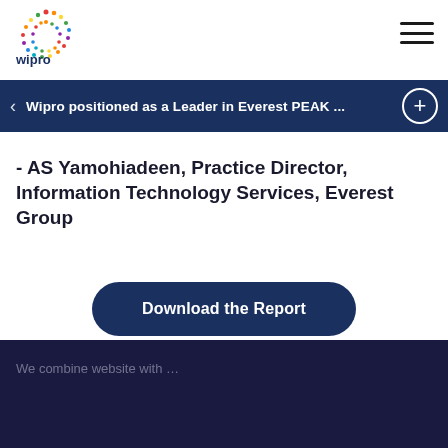[Figure (logo): Wipro colorful dot-pattern logo with 'wipro' text]
North American and European region. Taken together, these capabilities have helped position Wipro as a Leader on Everest Group's Oracle Cloud ...
Wipro positioned as a Leader in Everest PEAK ...
- AS Yamohiadeen, Practice Director, Information Technology Services, Everest Group
Download the Report
We combine website with ...